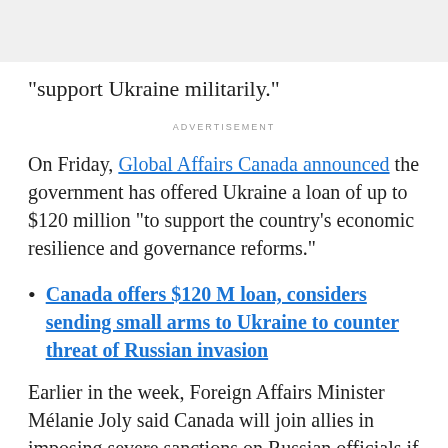"support Ukraine militarily."
ADVERTISEMENT
On Friday, Global Affairs Canada announced the government has offered Ukraine a loan of up to $120 million "to support the country's economic resilience and governance reforms."
Canada offers $120 M loan, considers sending small arms to Ukraine to counter threat of Russian invasion
Earlier in the week, Foreign Affairs Minister Mélanie Joly said Canada will join allies in imposing severe sanctions on Russian officials if the country takes